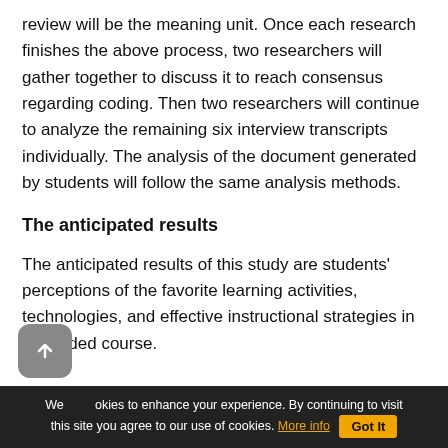review will be the meaning unit. Once each research finishes the above process, two researchers will gather together to discuss it to reach consensus regarding coding. Then two researchers will continue to analyze the remaining six interview transcripts individually. The analysis of the document generated by students will follow the same analysis methods.
The anticipated results
The anticipated results of this study are students' perceptions of the favorite learning activities, technologies, and effective instructional strategies in a blended course.
We use cookies to enhance your experience. By continuing to visit this site you agree to our use of cookies. More info   Got It